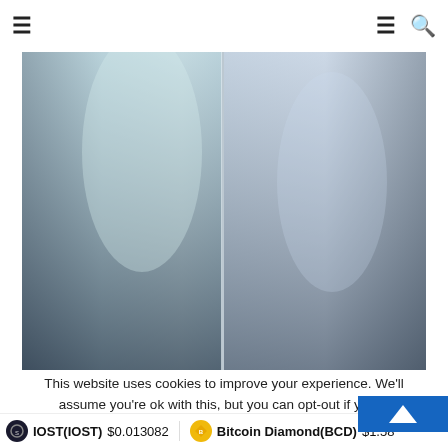Navigation bar with hamburger menu and search icon
[Figure (photo): Two-panel book or panel image with blue-gray gradient tones, left panel lighter with greenish tint, right panel darker blue-gray, separated by a thin vertical line]
This website uses cookies to improve your experience. We'll assume you're ok with this, but you can opt-out if you w
IOST(IOST) $0.013082   Bitcoin Diamond(BCD) $1.58